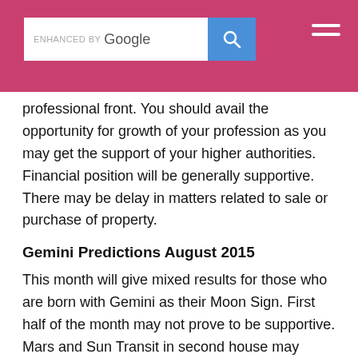[Figure (screenshot): Google search bar with blue search button on a pink/red header background, with hamburger menu icon on the right]
professional front. You should avail the opportunity for growth of your profession as you may get the support of your higher authorities. Financial position will be generally supportive. There may be delay in matters related to sale or purchase of property.
Gemini Predictions August 2015
This month will give mixed results for those who are born with Gemini as their Moon Sign. First half of the month may not prove to be supportive. Mars and Sun Transit in second house may create some financial problems and you may not be able to accumulate the funds due to over expenditures. Income may also be got affected adversely. You may also spoil some relations due to your attitude and harsh language. Take care of the health of mother